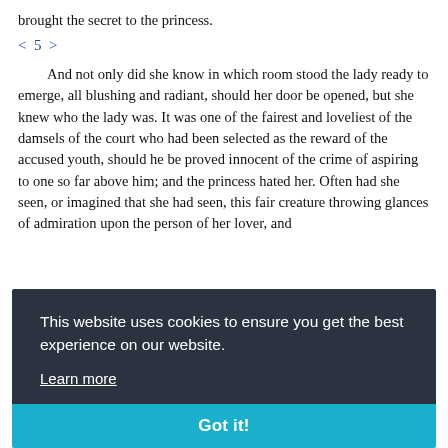brought the secret to the princess.
< 5 >
And not only did she know in which room stood the lady ready to emerge, all blushing and radiant, should her door be opened, but she knew who the lady was. It was one of the fairest and loveliest of the damsels of the court who had been selected as the reward of the accused youth, should he be proved innocent of the crime of aspiring to one so far above him; and the princess hated her. Often had she seen, or imagined that she had seen, this fair creature throwing glances of admiration upon the person of her lover, and
This website uses cookies to ensure you get the best experience on our website.
Learn more
Got it!
through long lines of wholly barbaric ancestors,